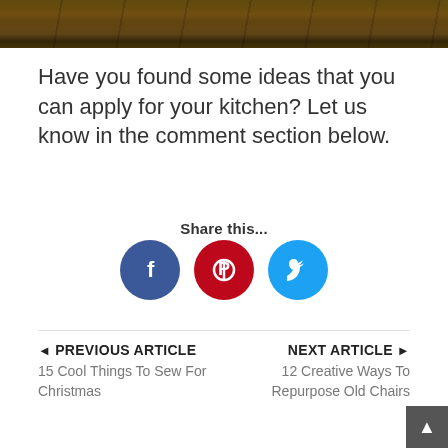[Figure (photo): Top portion of a photo showing wooden planks or shelves, cropped at the top of the page]
Have you found some ideas that you can apply for your kitchen? Let us know in the comment section below.
Share this...
[Figure (infographic): Three social media sharing icons: Facebook (blue circle with f), Pinterest (red circle with P), Twitter (cyan circle with bird)]
◄ PREVIOUS ARTICLE
15 Cool Things To Sew For Christmas
NEXT ARTICLE ►
12 Creative Ways To Repurpose Old Chairs